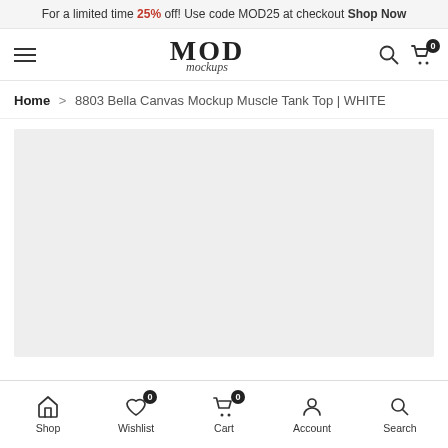For a limited time 25% off! Use code MOD25 at checkout Shop Now
[Figure (logo): MOD mockups logo with hamburger menu, search and cart icons]
Home > 8803 Bella Canvas Mockup Muscle Tank Top | WHITE
[Figure (photo): Light grey product image placeholder area]
Shop   Wishlist 0   Cart 0   Account   Search